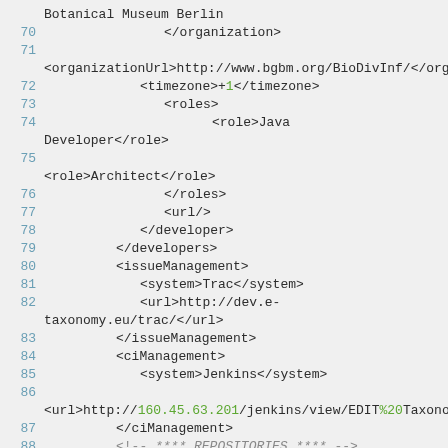Botanical Museum Berlin
  70    </organization>
  71
<organizationUrl>http://www.bgbm.org/BioDivInf/</organiz
  72    <timezone>+1</timezone>
  73    <roles>
  74    <role>Java Developer</role>
  75
<role>Architect</role>
  76    </roles>
  77    <url/>
  78    </developer>
  79    </developers>
  80    <issueManagement>
  81    <system>Trac</system>
  82    <url>http://dev.e-taxonomy.eu/trac/</url>
  83    </issueManagement>
  84    <ciManagement>
  85    <system>Jenkins</system>
  86
<url>http://160.45.63.201/jenkins/view/EDIT%20Taxonomic%
  87    </ciManagement>
  88    <!-- **** REPOSITORIES **** -->